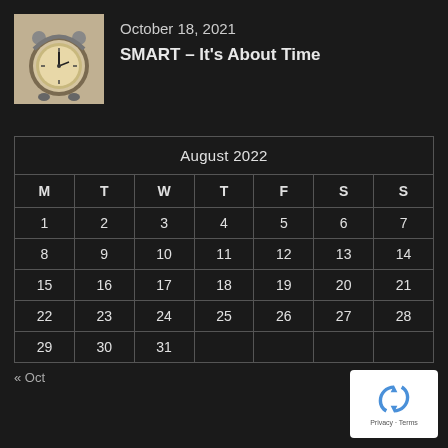[Figure (photo): Vintage alarm clock on a light background]
October 18, 2021
SMART – It's About Time
|  | August 2022 |  |  |  |  |  |
| --- | --- | --- | --- | --- | --- | --- |
| M | T | W | T | F | S | S |
| 1 | 2 | 3 | 4 | 5 | 6 | 7 |
| 8 | 9 | 10 | 11 | 12 | 13 | 14 |
| 15 | 16 | 17 | 18 | 19 | 20 | 21 |
| 22 | 23 | 24 | 25 | 26 | 27 | 28 |
| 29 | 30 | 31 |  |  |  |  |
« Oct
[Figure (logo): reCAPTCHA logo with Privacy - Terms text]